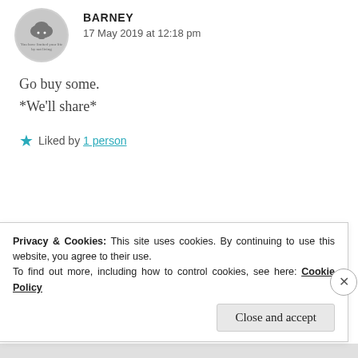[Figure (illustration): Circular avatar for user Barney, grey background with a cloud icon and small text]
BARNEY
17 May 2019 at 12:18 pm
Go buy some.
*We'll share*
★ Liked by 1 person
[Figure (illustration): Circular avatar for user Zealous Homo Sapiens, dark reddish-brown with a silhouette figure]
ZEALOUS HOMO SAPIENS
17 May 2019 at 12:22 pm
Privacy & Cookies: This site uses cookies. By continuing to use this website, you agree to their use.
To find out more, including how to control cookies, see here: Cookie Policy
Close and accept